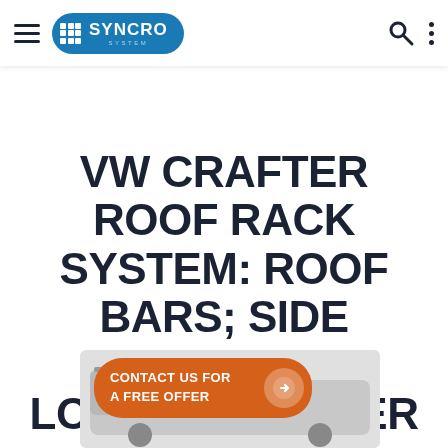Syncro System — navigation header with logo, search and menu icons
VW CRAFTER ROOF RACK SYSTEM: ROOF BARS; SIDE PANELS AND LOADING ROLLER
[Figure (other): Orange rounded-rectangle CTA button reading 'CONTACT US FOR A FREE OFFER' with a right-arrow circle icon, above a partial image of a VW Crafter van with roof rack]